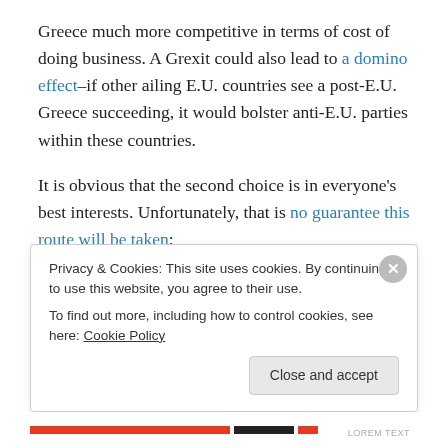Greece much more competitive in terms of cost of doing business. A Grexit could also lead to a domino effect–if other ailing E.U. countries see a post-E.U. Greece succeeding, it would bolster anti-E.U. parties within these countries.
It is obvious that the second choice is in everyone's best interests. Unfortunately, that is no guarantee this route will be taken:
Herman van Rompuy [former head of the European Council of EU leaders] told a Brussels conference that
Privacy & Cookies: This site uses cookies. By continuing to use this website, you agree to their use.
To find out more, including how to control cookies, see here: Cookie Policy